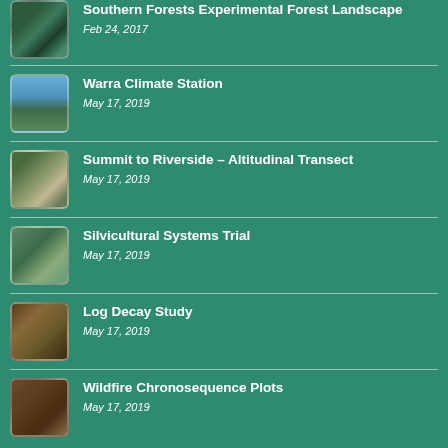Southern Forests Experimental Forest Landscape
Feb 24, 2017
Warra Climate Station
May 17, 2019
Summit to Riverside – Altitudinal Transect
May 17, 2019
Silvicultural Systems Trial
May 17, 2019
Log Decay Study
May 17, 2019
Wildfire Chronosequence Plots
May 17, 2019